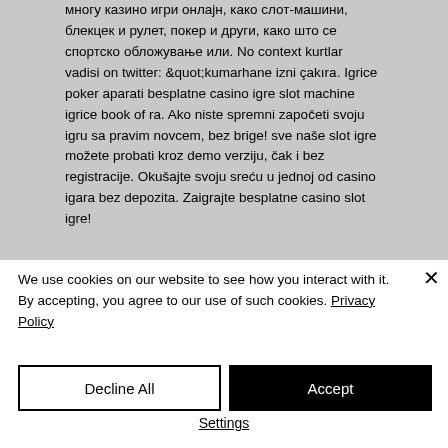многу казино игри онлајн, како слот-машини, блекцек и рулет, покер и други, како што се спортско обложување или. No context kurtlar vadisi on twitter: &quot;kumarhane izni çakıra. Igrice poker aparati besplatne casino igre slot machine igrice book of ra. Ako niste spremni započeti svoju igru sa pravim novcem, bez brige! sve naše slot igre možete probati kroz demo verziju, čak i bez registracije. Okušajte svoju sreću u jednoj od casino igara bez depozita. Zaigrajte besplatne casino slot igre!
We use cookies on our website to see how you interact with it. By accepting, you agree to our use of such cookies. Privacy Policy
Decline All
Accept
Settings